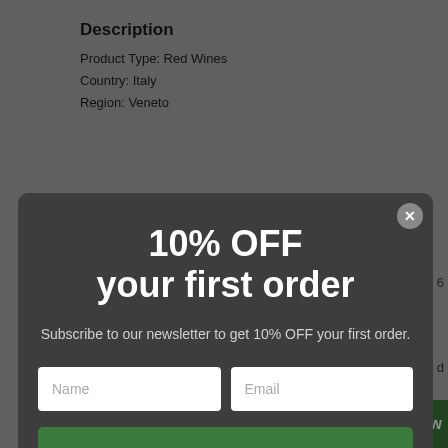Description
Product Type: Red Wines
Country: Italy
Region: Veneto
[Figure (screenshot): A modal popup dialog with dark background offering 10% OFF on first order. Contains a close (X) button, headline '10% OFF your first order', subtext about subscribing to newsletter, Name and Email input fields, and an OK button in green.]
10% OFF
your first order
Subscribe to our newsletter to get 10% OFF your first order.
OK